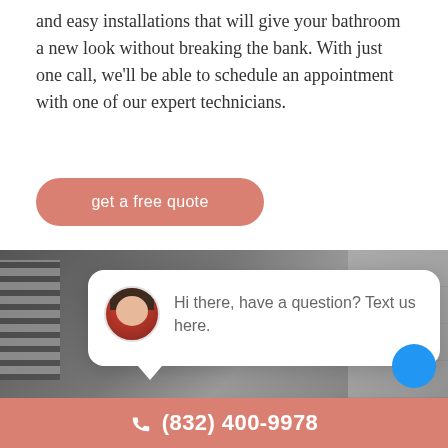and easy installations that will give your bathroom a new look without breaking the bank. With just one call, we'll be able to schedule an appointment with one of our expert technicians.
[Figure (other): Salmon/coral rounded button with white text reading 'get a free quote']
[Figure (screenshot): A bathroom photo background with a chat popup overlay. The popup has a 'close' button, a circular avatar of a woman, and text: 'Hi there, have a question? Text us here.' A blue circle button is visible in the bottom right corner.]
(832) 400-9978